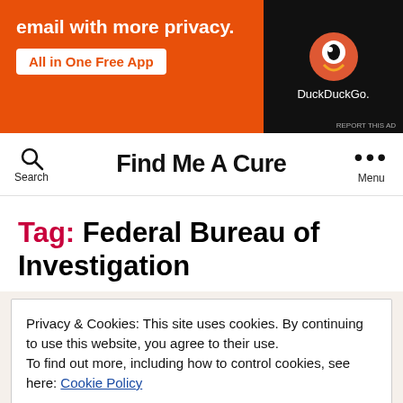[Figure (screenshot): DuckDuckGo advertisement banner: orange background with text 'email with more privacy. All in One Free App' and DuckDuckGo logo on dark background]
Find Me A Cure
Tag: Federal Bureau of Investigation
Privacy & Cookies: This site uses cookies. By continuing to use this website, you agree to their use. To find out more, including how to control cookies, see here: Cookie Policy
CLOSE AND ACCEPT